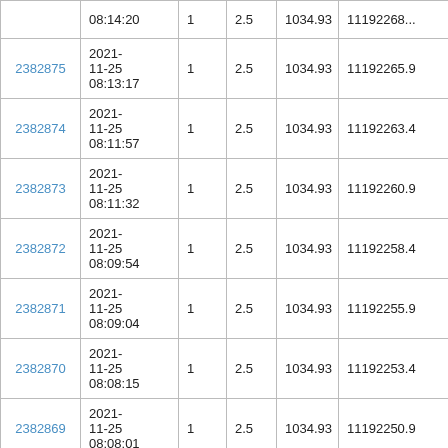|  | 08:14:20 | 1 | 2.5 | 1034.93 | 11192260... |
| 2382875 | 2021-11-25 08:13:17 | 1 | 2.5 | 1034.93 | 11192265.9 |
| 2382874 | 2021-11-25 08:11:57 | 1 | 2.5 | 1034.93 | 11192263.4 |
| 2382873 | 2021-11-25 08:11:32 | 1 | 2.5 | 1034.93 | 11192260.9 |
| 2382872 | 2021-11-25 08:09:54 | 1 | 2.5 | 1034.93 | 11192258.4 |
| 2382871 | 2021-11-25 08:09:04 | 1 | 2.5 | 1034.93 | 11192255.9 |
| 2382870 | 2021-11-25 08:08:15 | 1 | 2.5 | 1034.93 | 11192253.4 |
| 2382869 | 2021-11-25 08:08:01 | 1 | 2.5 | 1034.93 | 11192250.9 |